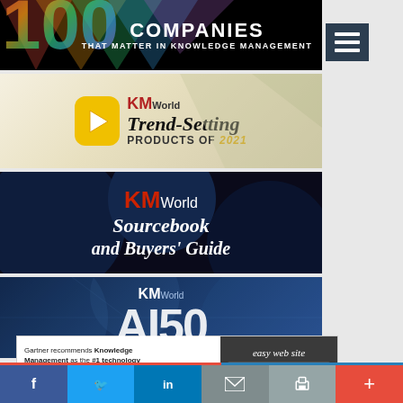[Figure (illustration): 100 Companies That Matter in Knowledge Management banner - black background with colorful geometric number, white text COMPANIES and THAT MATTER IN KNOWLEDGE MANAGEMENT]
[Figure (illustration): KMWorld Trend-Setting Products of 2021 banner - yellow/cream background with KMWorld logo arrow, large italic text]
[Figure (illustration): KMWorld Sourcebook and Buyers Guide banner - dark blue/black background with red and white KMWorld text and italic white Sourcebook and Buyers Guide text]
[Figure (illustration): KMWorld AI50 banner - dark blue background with white KMWorld World text and large AI50 letters]
[Figure (illustration): Advertisement: Gartner recommends Knowledge Management as the #1 technology for customer service for 2022 - Download Free Gartner Report button, easy web site logo]
[Figure (infographic): Social sharing bar with Facebook, Twitter, LinkedIn, Email, Print, and Plus buttons in their respective brand colors]